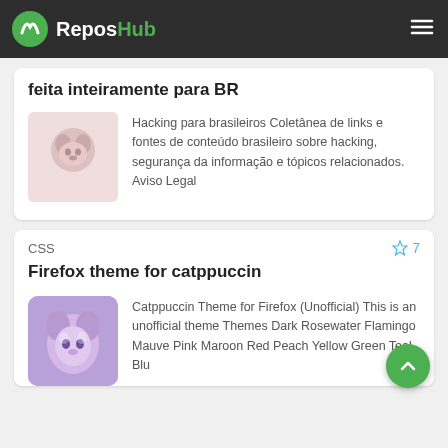ReposHub
feita inteiramente para BR
Hacking para brasileiros Coletânea de links e fontes de conteúdo brasileiro sobre hacking, segurança da informação e tópicos relacionados. Aviso Legal
CSS  ☆ 7
Firefox theme for catppuccin
Catppuccin Theme for Firefox (Unofficial) This is an unofficial theme Themes Dark Rosewater Flamingo Mauve Pink Maroon Red Peach Yellow Green Teal Blu